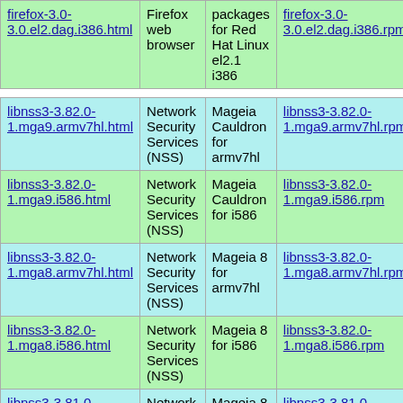| firefox-3.0-3.0.el2.dag.i386.html | Firefox web browser | packages for Red Hat Linux el2.1 i386 | firefox-3.0-3.0.el2.dag.i386.rpm |
| libnss3-3.82.0-1.mga9.armv7hl.html | Network Security Services (NSS) | Mageia Cauldron for armv7hl | libnss3-3.82.0-1.mga9.armv7hl.rpm |
| libnss3-3.82.0-1.mga9.i586.html | Network Security Services (NSS) | Mageia Cauldron for i586 | libnss3-3.82.0-1.mga9.i586.rpm |
| libnss3-3.82.0-1.mga8.armv7hl.html | Network Security Services (NSS) | Mageia 8 for armv7hl | libnss3-3.82.0-1.mga8.armv7hl.rpm |
| libnss3-3.82.0-1.mga8.i586.html | Network Security Services (NSS) | Mageia 8 for i586 | libnss3-3.82.0-1.mga8.i586.rpm |
| libnss3-3.81.0-1.mga8.armv7hl.html | Network Security Services (NSS) | Mageia 8 for armv7hl | libnss3-3.81.0-1.mga8.armv7hl.rpm |